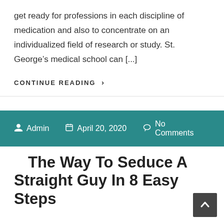get ready for professions in each discipline of medication and also to concentrate on an individualized field of research or study. St. George’s medical school can [...]
CONTINUE READING ›
👤 Admin 🗓 April 20, 2020 💬 No Comments
The Way To Seduce A Straight Guy In 8 Easy Steps